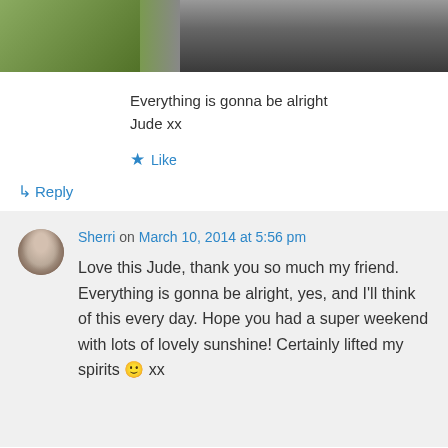[Figure (photo): Partial photo strip at the top of the page showing a person against a dark background with some greenery on the left]
Everything is gonna be alright
Jude xx
★ Like
↳ Reply
Sherri on March 10, 2014 at 5:56 pm
Love this Jude, thank you so much my friend. Everything is gonna be alright, yes, and I'll think of this every day. Hope you had a super weekend with lots of lovely sunshine! Certainly lifted my spirits 🙂 xx